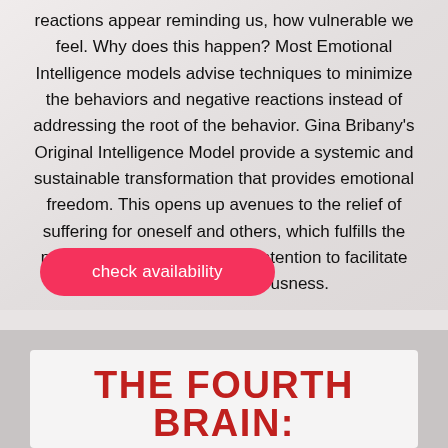reactions appear reminding us, how vulnerable we feel. Why does this happen? Most Emotional Intelligence models advise techniques to minimize the behaviors and negative reactions instead of addressing the root of the behavior. Gina Bribany's Original Intelligence Model provide a systemic and sustainable transformation that provides emotional freedom. This opens up avenues to the relief of suffering for oneself and others, which fulfills the purpose of the book and the intention to facilitate the reader's consciousness.
check availability
THE FOURTH BRAIN: